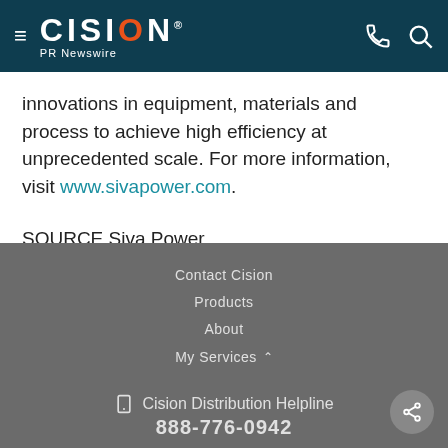CISION PR Newswire
innovations in equipment, materials and process to achieve high efficiency at unprecedented scale. For more information, visit www.sivapower.com.
SOURCE Siva Power
Contact Cision
Products
About
My Services
Cision Distribution Helpline
888-776-0942